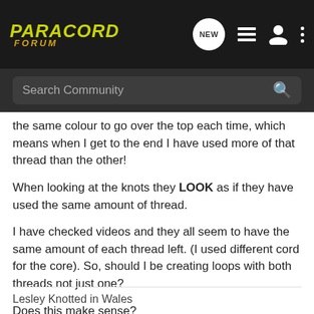PARACORD FORUM
the same colour to go over the top each time, which means when I get to the end I have used more of that thread than the other!
When looking at the knots they LOOK as if they have used the same amount of thread.
I have checked videos and they all seem to have the same amount of each thread left. (I used different cord for the core). So, should I be creating loops with both threads not just one?
Does this make sense?
Lesley Knotted in Wales